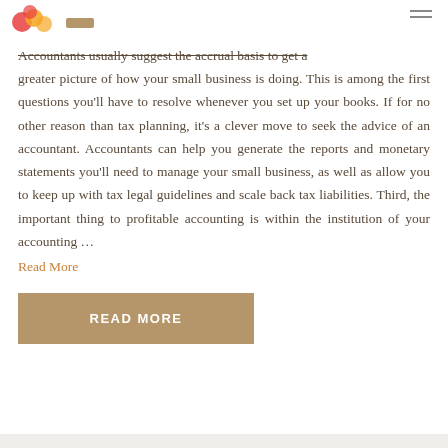[Logo and navigation bar]
Accountants usually suggest the accrual basis to get a greater picture of how your small business is doing. This is among the first questions you'll have to resolve whenever you set up your books. If for no other reason than tax planning, it's a clever move to seek the advice of an accountant. Accountants can help you generate the reports and monetary statements you'll need to manage your small business, as well as allow you to keep up with tax legal guidelines and scale back tax liabilities. Third, the important thing to profitable accounting is within the institution of your accounting …
Read More
READ MORE